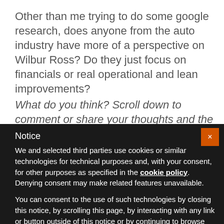Other than me trying to do some google research, does anyone from the auto industry have more of a perspective on Wilbur Ross? Do they just focus on financials or real operational and lean improvements?
What do you think? Scroll down to comment or share your thoughts and the post on social
Notice
We and selected third parties use cookies or similar technologies for technical purposes and, with your consent, for other purposes as specified in the cookie policy. Denying consent may make related features unavailable.
You can consent to the use of such technologies by closing this notice, by scrolling this page, by interacting with any link or button outside of this notice or by continuing to browse otherwise.